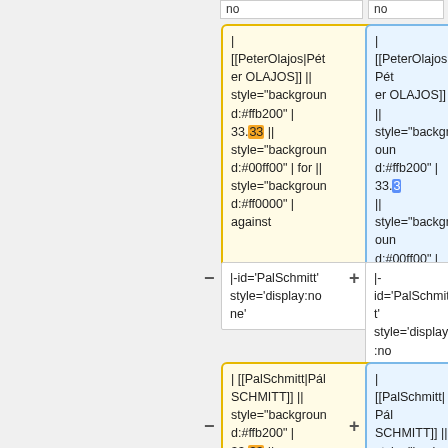no	no
| [[PeterOlajos|Péter OLAJOS]] || style="background:#ffb200" | 33.33 || style="background:#00ff00" | for || style="background:#ff0000" | against
| [[PeterOlajos|Péter OLAJOS]] || style="background:#ffb200" | 33.3 || style="background:#00ff00" | for || style="background:#ff0000" | against
|-id='PalSchmitt' style='display:none'
|-id='PalSchmitt' style='display:none'
| [[PalSchmitt|Pál SCHMITT]] || style="background:#ffb200" | 33.33 || style="background:#00ff00" | for || style="background:#ff0000" |
| [[PalSchmitt|Pál SCHMITT]] || style="background:#ffb200" | 33.3 || style="background:#00ff00" | for || style="background:#ff0000" |